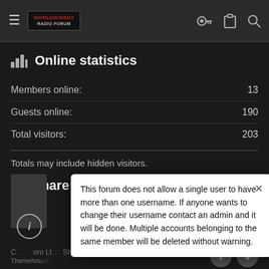Worldwidedx Radio Forum — navigation header with hamburger menu, logo, key icon, clipboard icon, search icon
Online statistics
|  |  |
| --- | --- |
| Members online: | 13 |
| Guests online: | 190 |
| Total visitors: | 203 |
Totals may include hidden visitors.
Share this page
This forum does not allow a single user to have more than one username. If anyone wants to change their username contact an admin and it will be done. Multiple accounts belonging to the same member will be deleted without warning.
© Themehou... oro Lt... Style ...